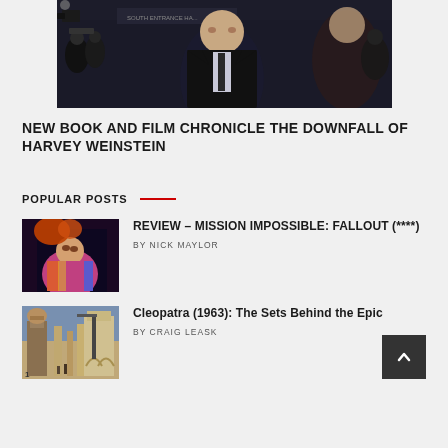[Figure (photo): Harvey Weinstein in a dark suit and tie walking outside a building, press and cameras visible in background]
NEW BOOK AND FILM CHRONICLE THE DOWNFALL OF HARVEY WEINSTEIN
POPULAR POSTS
[Figure (photo): Movie poster or still from Mission Impossible Fallout showing colorful action figure]
REVIEW – MISSION IMPOSSIBLE: FALLOUT (****)
BY NICK MAYLOR
[Figure (photo): Film set photo from Cleopatra 1963 showing large Egyptian-style set constructions and equipment]
Cleopatra (1963): The Sets Behind the Epic
BY CRAIG LEASK